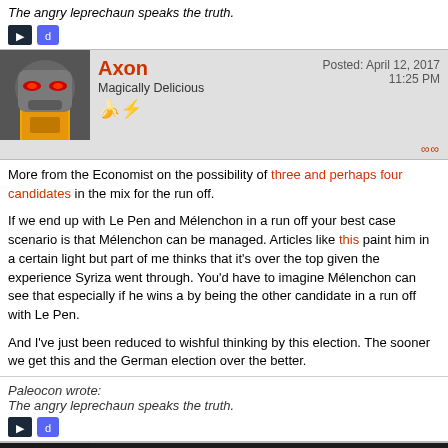The angry leprechaun speaks the truth.
[Figure (screenshot): Steam and Discord icons]
Axon
Magically Delicious
Posted: April 12, 2017 11:25 PM
More from the Economist on the possibility of three and perhaps four candidates in the mix for the run off.

If we end up with Le Pen and Mélenchon in a run off your best case scenario is that Mélenchon can be managed. Articles like this paint him in a certain light but part of me thinks that it's over the top given the experience Syriza went through. You'd have to imagine Mélenchon can see that especially if he wins a by being the other candidate in a run off with Le Pen.

And I've just been reduced to wishful thinking by this election. The sooner we get this and the German election over the better.
Paleocon wrote:
The angry leprechaun speaks the truth.
[Figure (screenshot): Steam and Discord icons]
Shadout
Posted: April 13, 2017